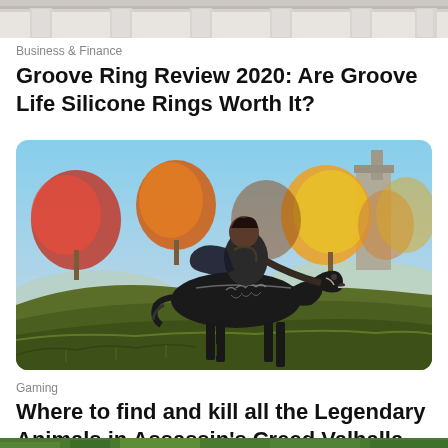[Figure (photo): Partial image of a classical building with columns visible at the top of the page, cropped screenshot]
Business & Finance
Groove Ring Review 2020: Are Groove Life Silicone Rings Worth It?
[Figure (screenshot): Video game screenshot from Assassin's Creed Valhalla showing a warrior riding a black skeletal horse through an autumn landscape with colorful trees]
Gaming
Where to find and kill all the Legendary Animals in Assassin's Creed Valhalla
[Figure (photo): Partial image visible at the bottom of the page, appears to show green foliage]